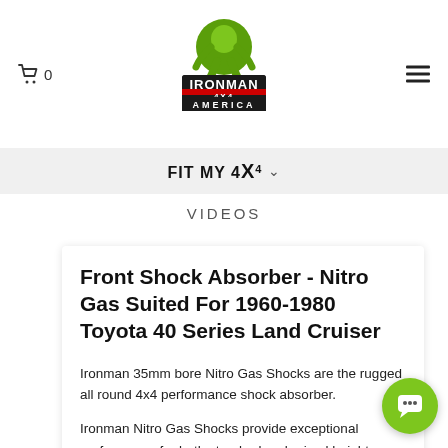Ironman 4x4 America — Cart: 0 | Navigation menu
[Figure (logo): Ironman 4x4 America logo with green muscular figure crouching on top]
FIT MY 4X4
VIDEOS
Front Shock Absorber - Nitro Gas Suited For 1960-1980 Toyota 40 Series Land Cruiser
Ironman 35mm bore Nitro Gas Shocks are the rugged all round 4x4 performance shock absorber.
Ironman Nitro Gas Shocks provide exceptional performance for both standard and raised height 4x4's whilst delivering superior ride control and